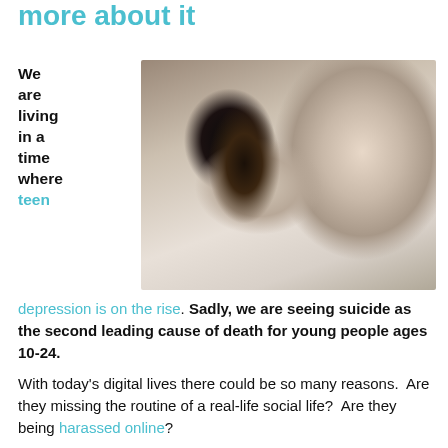more about it
We are living in a time where teen
[Figure (photo): Photo of a distressed young woman with head in hands being comforted by another woman]
depression is on the rise. Sadly, we are seeing suicide as the second leading cause of death for young people ages 10-24.
With today's digital lives there could be so many reasons.  Are they missing the routine of a real-life social life?  Are they being harassed online?
Or are they watching their friends on social media